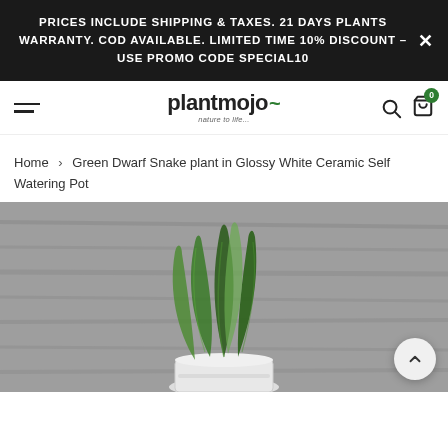PRICES INCLUDE SHIPPING & TAXES. 21 DAYS PLANTS WARRANTY. COD AVAILABLE. LIMITED TIME 10% DISCOUNT – USE PROMO CODE SPECIAL10
[Figure (logo): PlantMojo logo with green leaf accent and tagline 'nature to life...']
Home > Green Dwarf Snake plant in Glossy White Ceramic Self Watering Pot
[Figure (photo): Photo of a Green Dwarf Snake plant with dark green leaves in a white ceramic pot, against a grey wooden background]